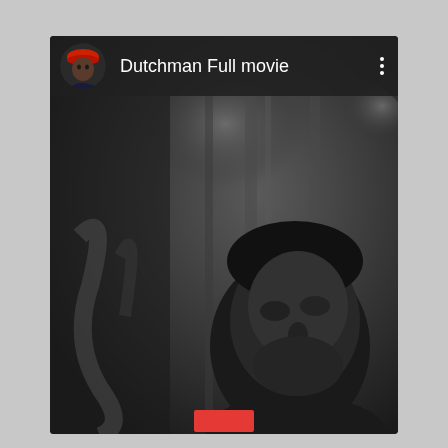[Figure (screenshot): A YouTube-style video card showing a black-and-white film still of a man's face in a subway or indoor setting. The top bar shows a circular avatar of a person wearing a red beret, the title 'Dutchman Full movie', and a vertical three-dot menu icon. At the bottom a partial red play button is visible.]